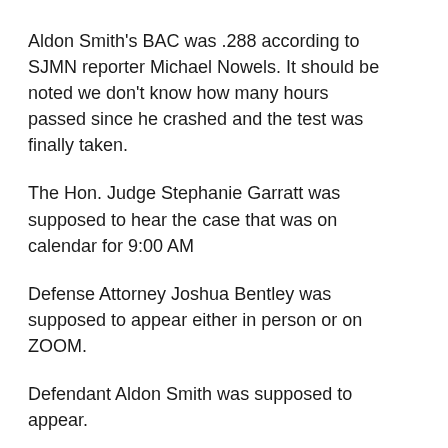Aldon Smith's BAC was .288 according to SJMN reporter Michael Nowels. It should be noted we don't know how many hours passed since he crashed and the test was finally taken.
The Hon. Judge Stephanie Garratt was supposed to hear the case that was on calendar for 9:00 AM
Defense Attorney Joshua Bentley was supposed to appear either in person or on ZOOM.
Defendant Aldon Smith was supposed to appear.
That's all I can report at this moment, the Court Clerk has not entered the results into the Odyssey Portal Data Base yet. He or she was able to enter the results of other cases in that courtroom yesterday.